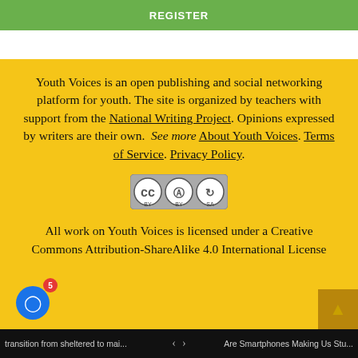REGISTER
Youth Voices is an open publishing and social networking platform for youth. The site is organized by teachers with support from the National Writing Project. Opinions expressed by writers are their own.  See more About Youth Voices. Terms of Service. Privacy Policy.
[Figure (logo): Creative Commons BY-SA license badge showing CC, BY, and SA icons in a rounded rectangle]
All work on Youth Voices is licensed under a Creative Commons Attribution-ShareAlike 4.0 International License
transition from sheltered to mai...   < >   Are Smartphones Making Us Stu...